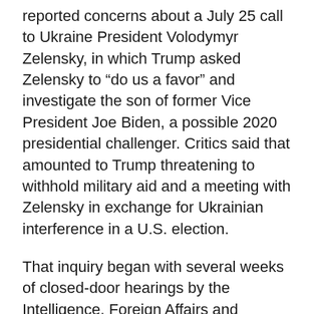reported concerns about a July 25 call to Ukraine President Volodymyr Zelensky, in which Trump asked Zelensky to “do us a favor” and investigate the son of former Vice President Joe Biden, a possible 2020 presidential challenger. Critics said that amounted to Trump threatening to withhold military aid and a meeting with Zelensky in exchange for Ukrainian interference in a U.S. election.
That inquiry began with several weeks of closed-door hearings by the Intelligence, Foreign Affairs and Oversight committees, followed by another two weeks of public hearings before the Intelligence Committee.